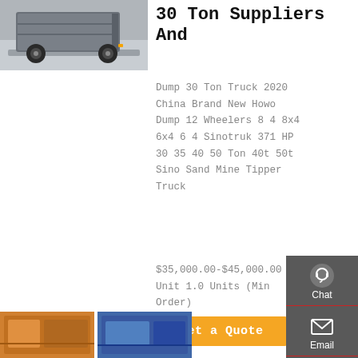[Figure (photo): Rear view of a dump truck on a road]
30 Ton Suppliers And
Dump 30 Ton Truck 2020 China Brand New Howo Dump 12 Wheelers 8 4 8x4 6x4 6 4 Sinotruk 371 HP 30 35 40 50 Ton 40t 50t Sino Sand Mine Tipper Truck
$35,000.00-$45,000.00 / Unit 1.0 Units (Min Order)
[Figure (photo): Bottom left thumbnail photo]
[Figure (photo): Bottom right thumbnail photo]